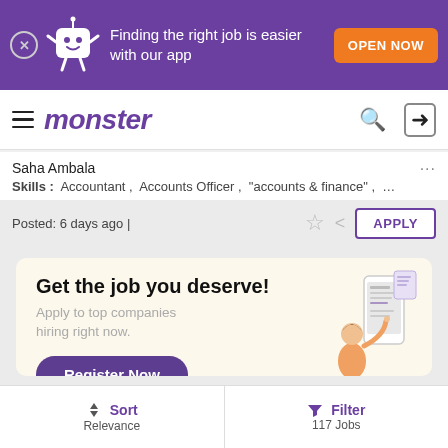[Figure (screenshot): Monster job portal app promotion banner with purple background, mascot character, and orange 'OPEN NOW' button]
monster
Saha Ambala
Skills: Accountant, Accounts Officer, "accounts & finance", ...
Posted: 6 days ago |
[Figure (illustration): Promotional card with text 'Get the job you deserve! Apply to top companies hiring right now.' with Register Now button and illustration of person using phone]
Sort Relevance
Filter 117 Jobs